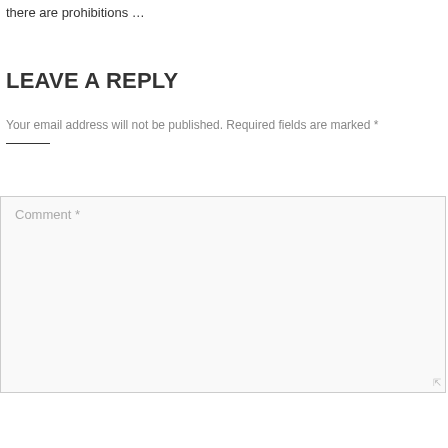there are prohibitions …
LEAVE A REPLY
Your email address will not be published. Required fields are marked *
Comment *